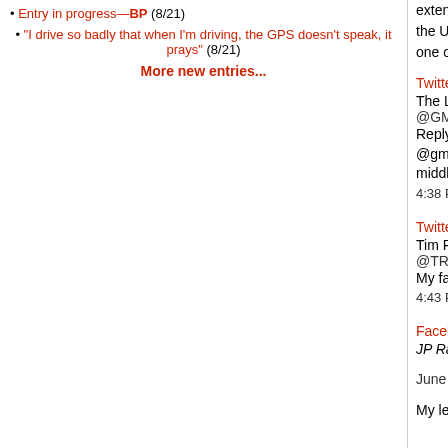Entry in progress—BP (8/21)
"I drive so badly that when I'm driving, the GPS doesn't speak, it prays" (8/21)
More new entries...
extending into Hays and Williamson counties. Inco 1839, it is the 11th-most populous city in the Unite populous city in Texas, and the second-most-popu Phoenix, Arizona). It has been one of the fastest g United States since 2010.
Twitter
The Long Game
@GMWLongGame
Replying to @GMWLongGame
@gmwpodcast @jeremypape93 @Elbi322Elbi but pretty much a California city dropped in the middle
4:38 PM · Aug 19, 2015·Twitter for iPhone
Twitter
Tim Ray
@TRayTX25
My favorite California city is Austin...and it just so h the middle of Texas!  #hipstercity
4:43 PM · Apr 5, 2016·Twitter Web Client
Facebook
JP Rankin
June 25, 2021 at 10:23 AM ·
My least favorite California city is Austin, Texas